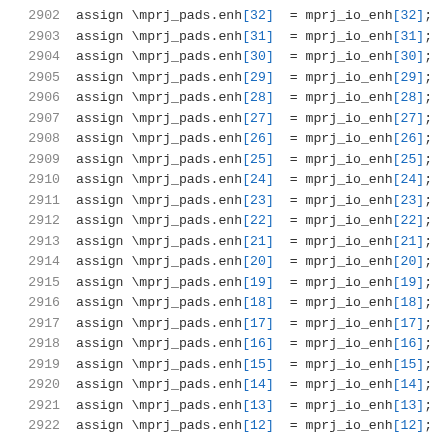2902    assign \mprj_pads.enh[32] = mprj_io_enh[32];
2903    assign \mprj_pads.enh[31] = mprj_io_enh[31];
2904    assign \mprj_pads.enh[30] = mprj_io_enh[30];
2905    assign \mprj_pads.enh[29] = mprj_io_enh[29];
2906    assign \mprj_pads.enh[28] = mprj_io_enh[28];
2907    assign \mprj_pads.enh[27] = mprj_io_enh[27];
2908    assign \mprj_pads.enh[26] = mprj_io_enh[26];
2909    assign \mprj_pads.enh[25] = mprj_io_enh[25];
2910    assign \mprj_pads.enh[24] = mprj_io_enh[24];
2911    assign \mprj_pads.enh[23] = mprj_io_enh[23];
2912    assign \mprj_pads.enh[22] = mprj_io_enh[22];
2913    assign \mprj_pads.enh[21] = mprj_io_enh[21];
2914    assign \mprj_pads.enh[20] = mprj_io_enh[20];
2915    assign \mprj_pads.enh[19] = mprj_io_enh[19];
2916    assign \mprj_pads.enh[18] = mprj_io_enh[18];
2917    assign \mprj_pads.enh[17] = mprj_io_enh[17];
2918    assign \mprj_pads.enh[16] = mprj_io_enh[16];
2919    assign \mprj_pads.enh[15] = mprj_io_enh[15];
2920    assign \mprj_pads.enh[14] = mprj_io_enh[14];
2921    assign \mprj_pads.enh[13] = mprj_io_enh[13];
2922    assign \mprj_pads.enh[12] = mprj_io_enh[12];